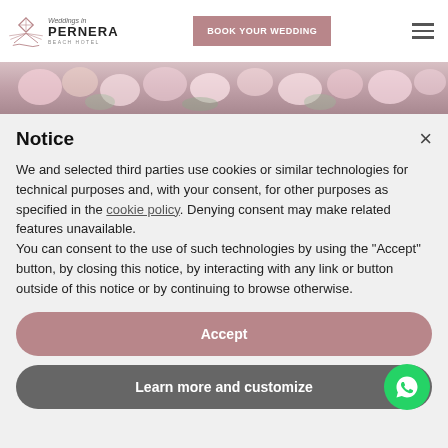Weddings in PERNERA BEACH HOTEL | BOOK YOUR WEDDING
[Figure (photo): Floral wedding table arrangement with pink and white roses and greenery]
Notice
We and selected third parties use cookies or similar technologies for technical purposes and, with your consent, for other purposes as specified in the cookie policy. Denying consent may make related features unavailable.
You can consent to the use of such technologies by using the "Accept" button, by closing this notice, by interacting with any link or button outside of this notice or by continuing to browse otherwise.
Accept
Learn more and customize